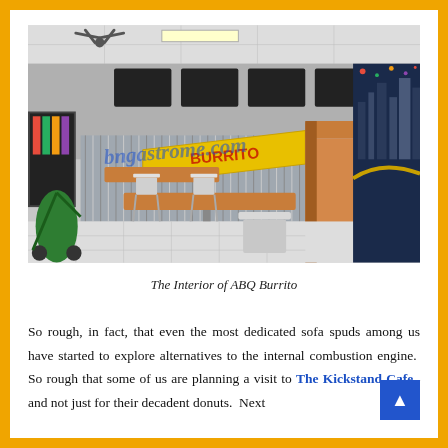[Figure (photo): Interior photo of ABQ Burrito restaurant showing dining area with wooden bar/counter, metal corrugated divider, white metal chairs, tables, menu boards on wall, refrigerated drink display, staff at counter, and a large cityscape mural on the right wall. A green stroller is visible in foreground left. Watermark text reads 'bngastrome.com'.]
The Interior of ABQ Burrito
So rough, in fact, that even the most dedicated sofa spuds among us have started to explore alternatives to the internal combustion engine.  So rough that some of us are planning a visit to The Kickstand Cafe–and not just for their decadent donuts.  Next